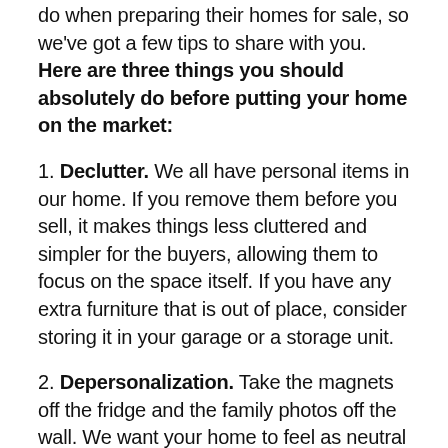do when preparing their homes for sale, so we've got a few tips to share with you. Here are three things you should absolutely do before putting your home on the market:
1. Declutter. We all have personal items in our home. If you remove them before you sell, it makes things less cluttered and simpler for the buyers, allowing them to focus on the space itself. If you have any extra furniture that is out of place, consider storing it in your garage or a storage unit.
2. Depersonalization. Take the magnets off the fridge and the family photos off the wall. We want your home to feel as neutral as possible for buyers.
3. Make noticeable repairs. If something obviously needs to be fixed, get it taken care of whether it's a